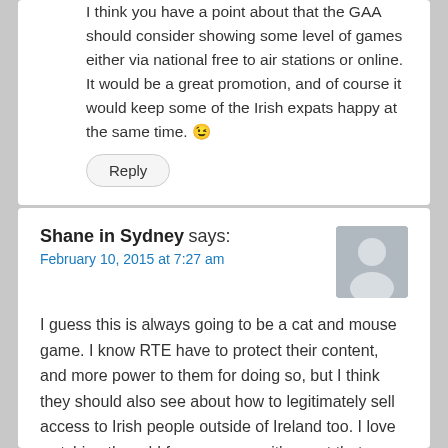I think you have a point about that the GAA should consider showing some level of games either via national free to air stations or online. It would be a great promotion, and of course it would keep some of the Irish expats happy at the same time. 😉
Reply
Shane in Sydney says:
February 10, 2015 at 7:27 am
I guess this is always going to be a cat and mouse game. I know RTE have to protect their content, and more power to them for doing so, but I think they should also see about how to legitimately sell access to Irish people outside of Ireland too. I love watching the odd few programs, it's great that shows like the Late Late are available for free, I know I'd pay €5 / month for legal access.